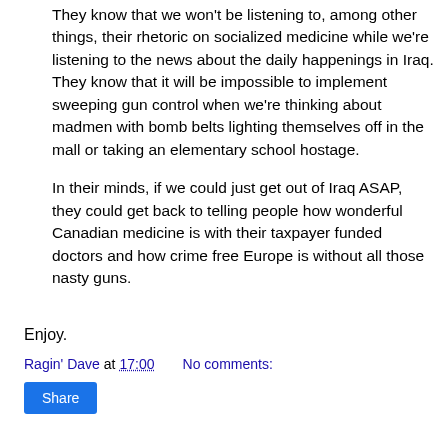They know that we won't be listening to, among other things, their rhetoric on socialized medicine while we're listening to the news about the daily happenings in Iraq. They know that it will be impossible to implement sweeping gun control when we're thinking about madmen with bomb belts lighting themselves off in the mall or taking an elementary school hostage.
In their minds, if we could just get out of Iraq ASAP, they could get back to telling people how wonderful Canadian medicine is with their taxpayer funded doctors and how crime free Europe is without all those nasty guns.
Enjoy.
Ragin' Dave at 17:00    No comments: